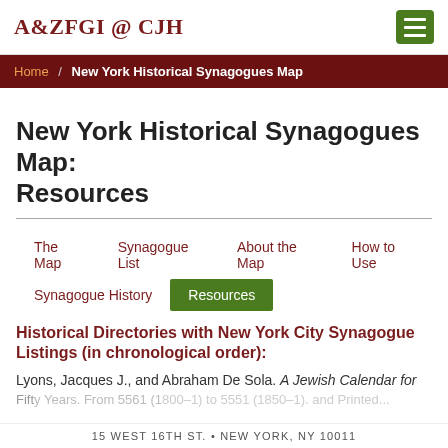A&ZFGI @ CJH
Home / New York Historical Synagogues Map
New York Historical Synagogues Map: Resources
The Map   Synagogue List   About the Map   How to Use   Synagogue History   Resources
Historical Directories with New York City Synagogue Listings (in chronological order):
Lyons, Jacques J., and Abraham De Sola. A Jewish Calendar for Fifty Years. From 5561 (1800–1) to 5551 (1850–1). Montreal: Printed...
15 WEST 16TH ST. • NEW YORK, NY 10011